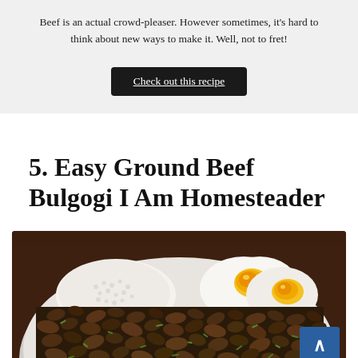Beef is an actual crowd-pleaser. However sometimes, it's hard to think about new ways to make it. Well, not to fret!
Check out this recipe
5. Easy Ground Beef Bulgogi I Am Homesteader
[Figure (photo): A bowl of ground beef bulgogi (Korean-style seasoned ground beef) served with white rice and halved soft-boiled eggs with bright yellow yolks, photographed close up from above at an angle.]